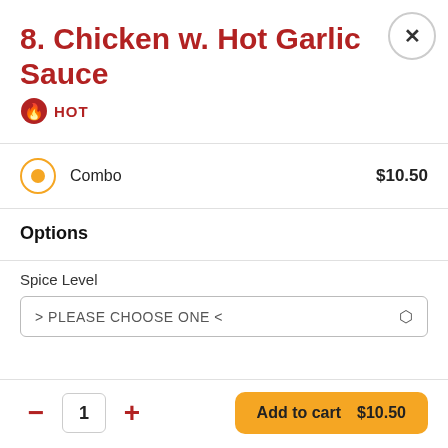8. Chicken w. Hot Garlic Sauce
🔥 HOT
Combo  $10.50
Options
Spice Level
> PLEASE CHOOSE ONE <
1
Add to cart  $10.50